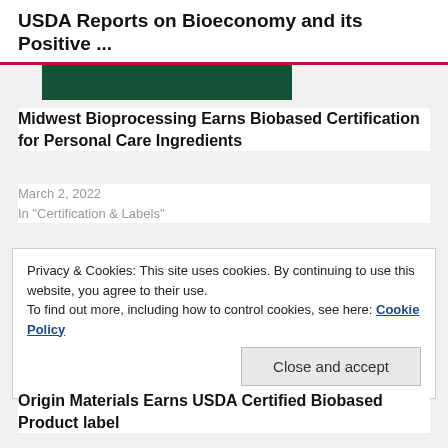USDA Reports on Bioeconomy and its Positive ...
[Figure (illustration): Dark green rectangular image block, partially cropped at top]
Midwest Bioprocessing Earns Biobased Certification for Personal Care Ingredients
March 2, 2022
In "Certification & Labels"
Privacy & Cookies: This site uses cookies. By continuing to use this website, you agree to their use.
To find out more, including how to control cookies, see here: Cookie Policy
Close and accept
Origin Materials Earns USDA Certified Biobased Product label